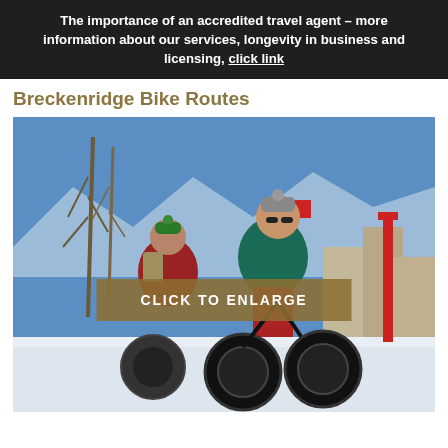The importance of an accredited travel agent – more information about our services, longevity in business and licensing, click link
Breckenridge Bike Routes
[Figure (photo): Two people riding fat tire bikes through a snowy Breckenridge town setting on a bright sunny day. The rider in the foreground wears a teal jacket, red pants, and a grey beanie with sunglasses. The rider behind wears red and carries a backpack. Bare aspen trees, an American flag, buildings, and blue sky visible in background. A button overlay reads CLICK TO ENLARGE.]